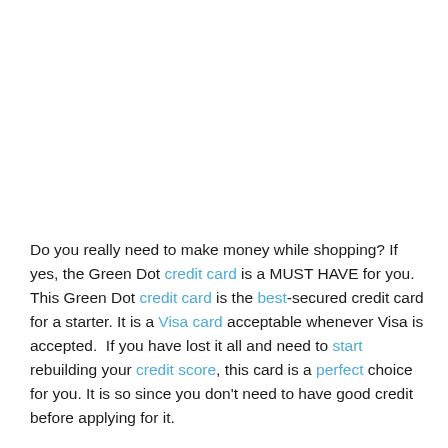Do you really need to make money while shopping? If yes, the Green Dot credit card is a MUST HAVE for you. This Green Dot credit card is the best-secured credit card for a starter. It is a Visa card acceptable whenever Visa is accepted.  If you have lost it all and need to start rebuilding your credit score, this card is a perfect choice for you. It is so since you don't need to have good credit before applying for it.